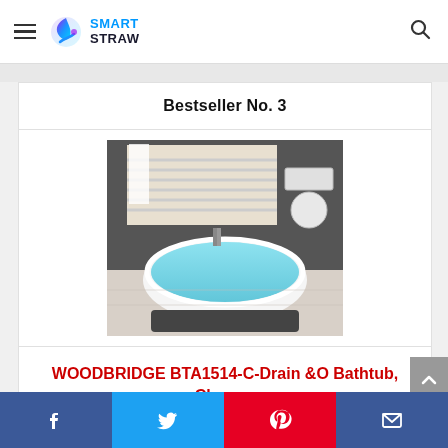Smart Straw — navigation bar with logo, hamburger menu, and search icon
Bestseller No. 3
[Figure (photo): Freestanding white bathtub filled with light blue water in a modern bathroom setting, with white shuttered windows in the background and dark gray walls.]
WOODBRIDGE BTA1514-C-Drain &O Bathtub, Chrome
Buy on Amazon
Social share bar: Facebook, Twitter, Pinterest, Email